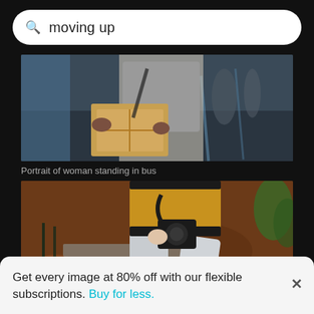moving up
[Figure (photo): Person holding a cardboard box on an escalator or moving walkway, other people in background, blurred motion]
Portrait of woman standing in bus
[Figure (photo): Low angle view of man climbing steps in a forest, wearing yellow jacket and gray pants, holding camera]
Get every image at 80% off with our flexible subscriptions. Buy for less.
Low section of man climbing on steps in forest